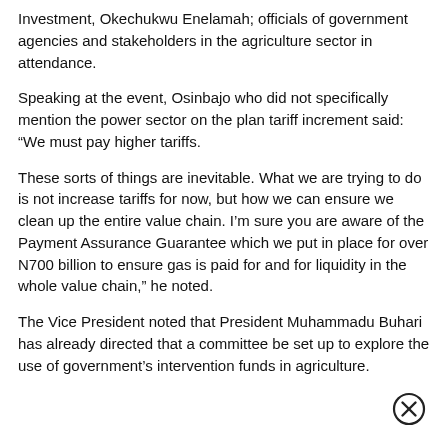Investment, Okechukwu Enelamah; officials of government agencies and stakeholders in the agriculture sector in attendance.
Speaking at the event, Osinbajo who did not specifically mention the power sector on the plan tariff increment said: “We must pay higher tariffs.
These sorts of things are inevitable. What we are trying to do is not increase tariffs for now, but how we can ensure we clean up the entire value chain. I’m sure you are aware of the Payment Assurance Guarantee which we put in place for over N700 billion to ensure gas is paid for and for liquidity in the whole value chain,” he noted.
The Vice President noted that President Muhammadu Buhari has already directed that a committee be set up to explore the use of government’s intervention funds in agriculture.
[Figure (other): Close/dismiss button icon (circled X symbol)]